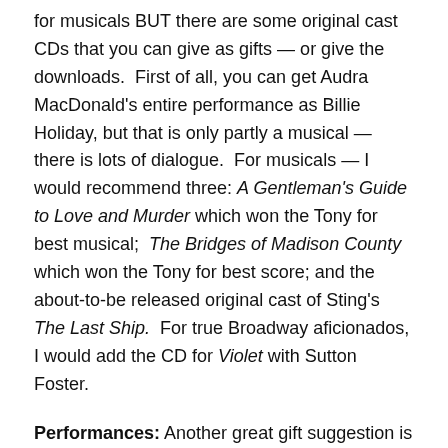for musicals BUT there are some original cast CDs that you can give as gifts — or give the downloads.  First of all, you can get Audra MacDonald's entire performance as Billie Holiday, but that is only partly a musical — there is lots of dialogue.  For musicals — I would recommend three: A Gentleman's Guide to Love and Murder which won the Tony for best musical;  The Bridges of Madison County which won the Tony for best score; and the about-to-be released original cast of Sting's The Last Ship.  For true Broadway aficionados, I would add the CD for Violet with Sutton Foster.
Performances: Another great gift suggestion is tickets to one of our terrific local theaters.  All of them offer a variety of packages that allow your lucky recipient to select the show and the dates.  Check out the web sites...